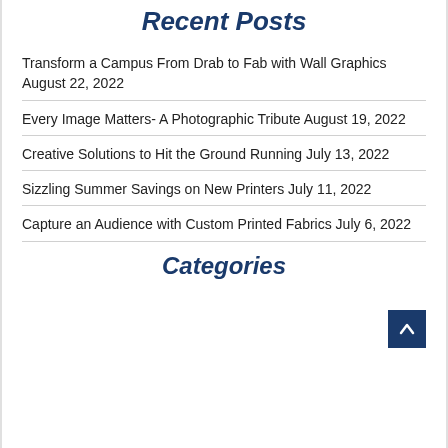Recent Posts
Transform a Campus From Drab to Fab with Wall Graphics August 22, 2022
Every Image Matters- A Photographic Tribute August 19, 2022
Creative Solutions to Hit the Ground Running July 13, 2022
Sizzling Summer Savings on New Printers July 11, 2022
Capture an Audience with Custom Printed Fabrics July 6, 2022
Categories